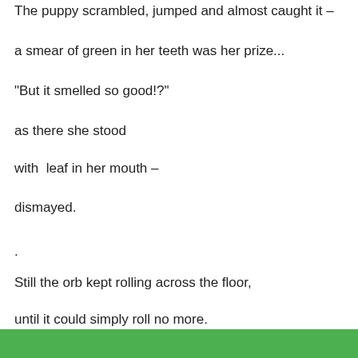The puppy scrambled, jumped and almost caught it –
a smear of green in her teeth was her prize...
“But it smelled so good!?”
as there she stood
with  leaf in her mouth –
dismayed.
.
Still the orb kept rolling across the floor,
until it could simply roll no more.
It stopped at the snout of the old poodle dog.
[Figure (other): Green bar at the bottom of the page]